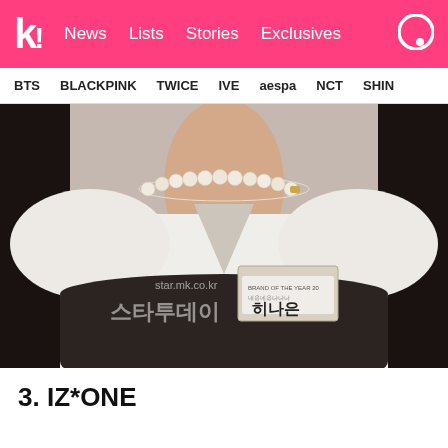K! News  Lists  Stories  Exclusives
BTS  BLACKPINK  TWICE  IVE  aespa  NCT  SHIN
[Figure (photo): Close-up photo of a person wearing a white puffy-sleeved blouse and dark bustier top, with a pearl necklace and a name badge reading '히나은' with 'BRAND OF THE YEAR' text. Watermark reads 'star.mk.co.kr' and '스타투데이'.]
3. IZ*ONE